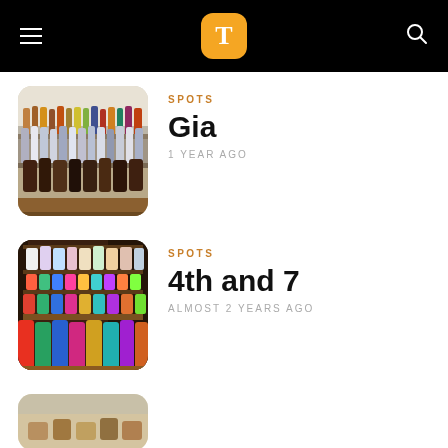T (Tasting Table app header)
SPOTS
Gia
1 YEAR AGO
[Figure (photo): Bar shelves stocked with bottles of liquor and spirits]
SPOTS
4th and 7
ALMOST 2 YEARS AGO
[Figure (photo): Store shelves with beer cans and bottles]
[Figure (photo): Partial view of food items, cropped at bottom of page]